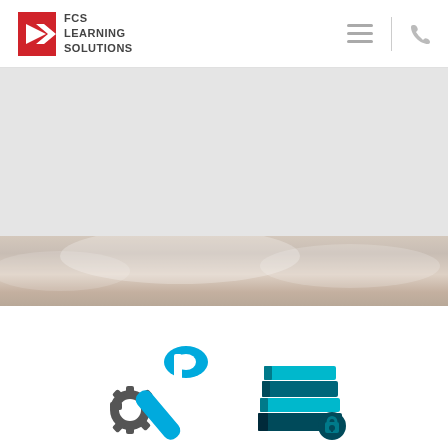[Figure (logo): FCS Learning Solutions logo — red square with white right-pointing arrow, text 'FCS LEARNING SOLUTIONS' in dark sans-serif]
[Figure (illustration): Hamburger menu icon (three horizontal gray lines) and phone icon, separated by a vertical divider line — navigation icons in page header]
[Figure (photo): Hero section: large light gray banner area with a partial sky/clouds photograph strip at the bottom showing soft cloudy sky with warm tones]
[Figure (illustration): Two icons in white section below: left icon is a blue wrench with gray gears (tools/maintenance icon); right icon is a stack of teal/dark blue books with a lock/chain icon]